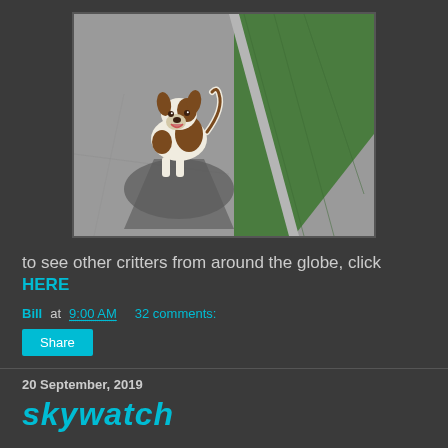[Figure (photo): A small brown and white dog standing on a gray pavement/sidewalk next to a green grass lawn, looking up at the camera with its mouth open, casting a shadow on the pavement. The photo is taken from above.]
to see other critters from around the globe, click HERE
Bill at 9:00 AM    32 comments:
Share
20 September, 2019
skywatch